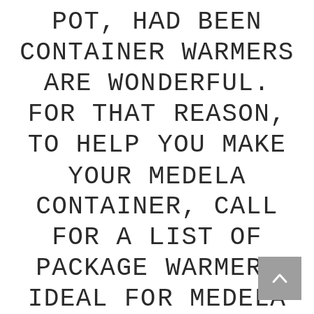pot, had been container warmers are wonderful. For that reason, to help you make your Medela container, call for a list of package warmers ideal for Medela plastic bottles.